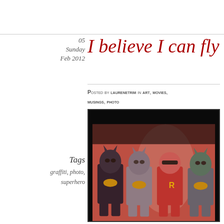I believe I can fly
05
Sunday
Feb 2012
Posted by laurenetrim in art, movies, musings, photo
≈ Leave a comment
Tags
graffiti, photo, superhero
[Figure (photo): Four children dressed in superhero costumes (Batman and Robin) sitting in a row against a brick wall with graffiti. The photo has a vintage/sepia-toned reddish filter.]